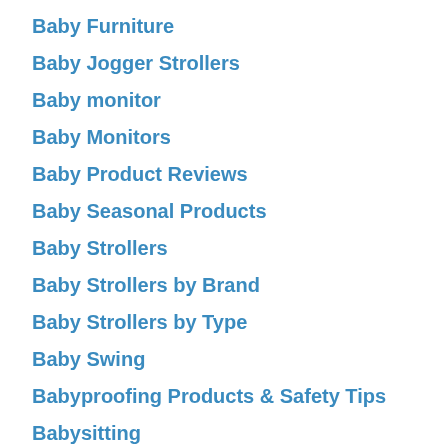Baby Furniture
Baby Jogger Strollers
Baby monitor
Baby Monitors
Baby Product Reviews
Baby Seasonal Products
Baby Strollers
Baby Strollers by Brand
Baby Strollers by Type
Baby Swing
Babyproofing Products & Safety Tips
Babysitting
Bassinet and Cribs
Best Baby Bottles